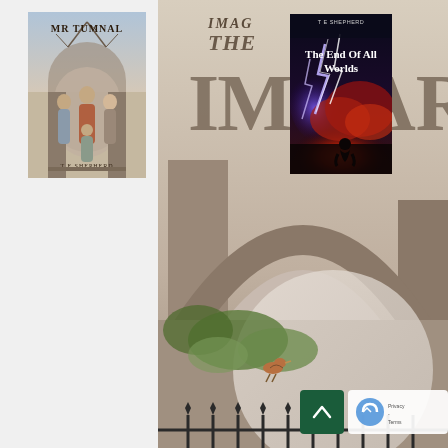[Figure (illustration): Book cover for 'Mr Tumnal' by T E Shepherd. Shows a family of four (two adults, two children) standing under an arched doorway with bare trees. Painted illustration style, warm browns and grays.]
[Figure (illustration): Large book cover partially visible: 'The Imaginary Friend' by T E Shepherd (text partially cropped). Shows illustrated archway with bird, lush greenery, iron fence, and large moon. Painted illustration style in sepia/earth tones.]
[Figure (illustration): Book cover for 'The End Of All Worlds' by T E Shepherd. Dark dramatic cover showing lightning strikes, volcanic eruption with red glow, and silhouette of kneeling figure. Dark sky and storm imagery.]